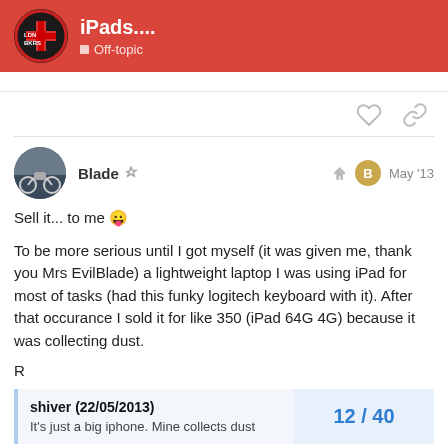iPads.... Off-topic
Blade  May '13
Sell it... to me 😛
To be more serious until I got myself (it was given me, thank you Mrs EvilBlade) a lightweight laptop I was using iPad for most of tasks (had this funky logitech keyboard with it). After that occurance I sold it for like 350 (iPad 64G 4G) because it was collecting dust.
R
shiver (22/05/2013) It's just a big iphone. Mine collects dust
12 / 40